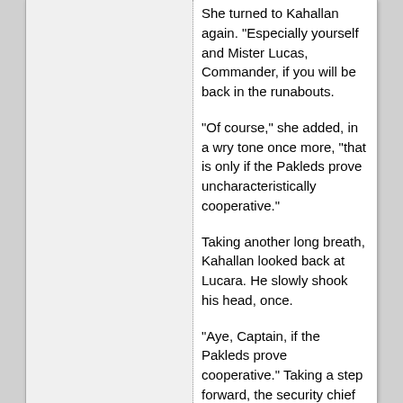She turned to Kahallan again. "Especially yourself and Mister Lucas, Commander, if you will be back in the runabouts.
"Of course," she added, in a wry tone once more, "that is only if the Pakleds prove uncharacteristically cooperative."
Taking another long breath, Kahallan looked back at Lucara. He slowly shook his head, once.
"Aye, Captain, if the Pakleds prove cooperative." Taking a step forward, the security chief made a quiet observation. "Quite a